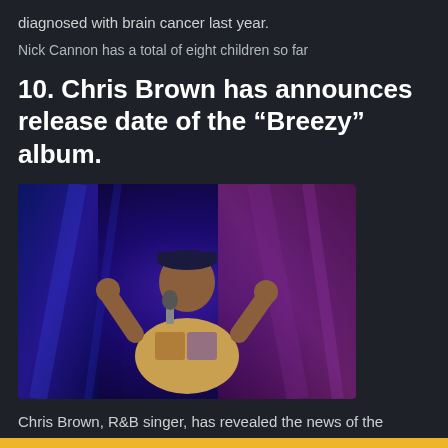diagnosed with brain cancer last year.
Nick Cannon has a total of eight children so far
10. Chris Brown has announces release date of the “Breezy” album.
[Figure (photo): Chris Brown performing on stage, wearing a yellow jacket and cap, singing into a microphone with hands raised, against a blue/purple stage backdrop.]
Chris Brown, R&B singer, has revealed the news of the release date for new album ‘Breezy’.